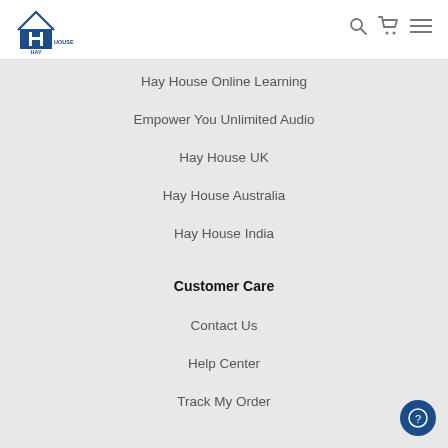[Figure (logo): Hay House logo with house icon and text HAY HOUSE]
Hay House Online Learning
Empower You Unlimited Audio
Hay House UK
Hay House Australia
Hay House India
Customer Care
Contact Us
Help Center
Track My Order